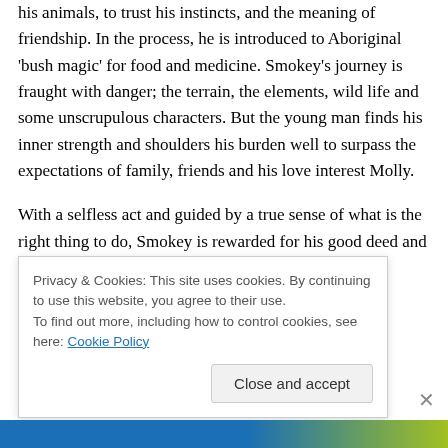his animals, to trust his instincts, and the meaning of friendship. In the process, he is introduced to Aboriginal 'bush magic' for food and medicine. Smokey's journey is fraught with danger; the terrain, the elements, wild life and some unscrupulous characters. But the young man finds his inner strength and shoulders his burden well to surpass the expectations of family, friends and his love interest Molly.
With a selfless act and guided by a true sense of what is the right thing to do, Smokey is rewarded for his good deed and recognized for the hero that he is. That in turn
Privacy & Cookies: This site uses cookies. By continuing to use this website, you agree to their use.
To find out more, including how to control cookies, see here: Cookie Policy